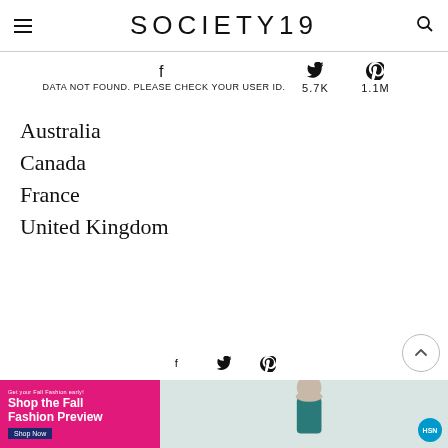SOCIETY 19
DATA NOT FOUND. PLEASE CHECK YOUR USER ID.  5.7K  1.1M
Australia
Canada
France
United Kingdom
[Figure (screenshot): Advertisement banner for HSN Fall Fashion Preview featuring a model in teal, with pink background and shop button]